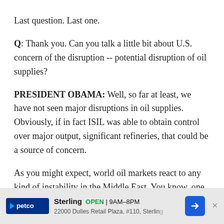Last question. Last one.
Q: Thank you. Can you talk a little bit about U.S. concern of the disruption -- potential disruption of oil supplies?
PRESIDENT OBAMA: Well, so far at least, we have not seen major disruptions in oil supplies. Obviously, if in fact ISIL was able to obtain control over major output, significant refineries, that could be a source of concern.
As you might expect, world oil markets react to any kind of instability in the Middle East. You know, one of our goals should be to make sure that in cooperation with other countries in the region, not only are we creating some sort of backstop in terms of what's happening inside
[Figure (other): Advertisement banner for Petco store in Sterling, showing store logo, open hours 9AM-8PM, address 22000 Dulles Retail Plaza #110, Sterling, and a blue navigation arrow icon.]